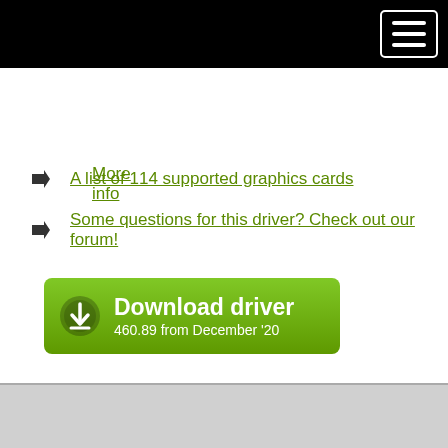More info
A list of 114 supported graphics cards
Some questions for this driver? Check out our forum!
[Figure (other): Download driver button — 460.89 from December '20]